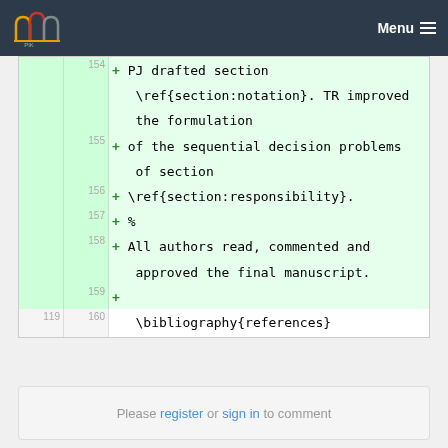PIK — Menu
| old | new | diff |
| --- | --- | --- |
|  | 154 | + PJ drafted section \ref{section:notation}. TR improved the formulation |
|  | 155 | + of the sequential decision problems of section |
|  | 156 | + \ref{section:responsibility}. |
|  | 157 | + % |
|  | 158 | + All authors read, commented and approved the final manuscript. |
|  | 159 | + |
| 119 | 160 |     \bibliography{references} |
| 120 | 161 |     \label{lastpage01} |
| 121 | 162 |  |
| ... | ... |  |
Please register or sign in to comment